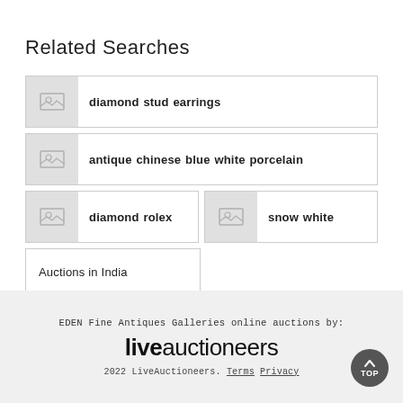Related Searches
diamond stud earrings
antique chinese blue white porcelain
diamond rolex
snow white
Auctions in India
EDEN Fine Antiques Galleries online auctions by:
liveauctioneers
2022 LiveAuctioneers. Terms Privacy